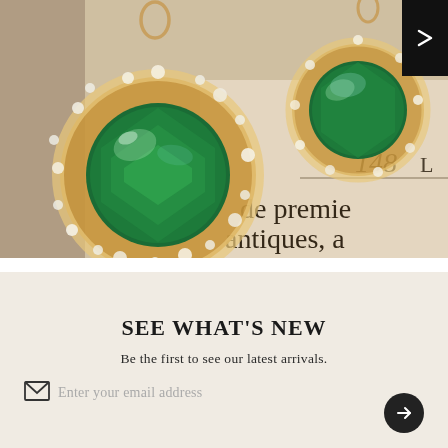[Figure (photo): Two ornate emerald and diamond earrings with gold settings, resting on an open book with French text visible (148, de premie, antiques, pei). A black navigation arrow button is visible at the top right corner.]
SEE WHAT'S NEW
Be the first to see our latest arrivals.
Enter your email address